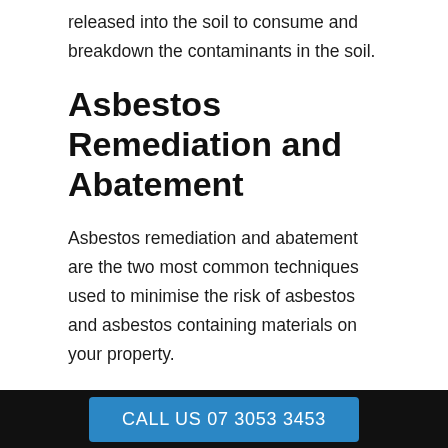released into the soil to consume and breakdown the contaminants in the soil.
Asbestos Remediation and Abatement
Asbestos remediation and abatement are the two most common techniques used to minimise the risk of asbestos and asbestos containing materials on your property.
Remediation and abatement are often used interchangeably, however there are some differences that are important to understand to help you manage asbestos
CALL US 07 3053 3453